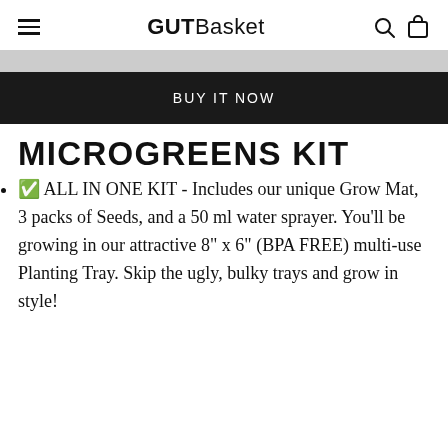GUTBasket
BUY IT NOW
MICROGREENS KIT
✅ ALL IN ONE KIT - Includes our unique Grow Mat, 3 packs of Seeds, and a 50 ml water sprayer. You'll be growing in our attractive 8" x 6" (BPA FREE) multi-use Planting Tray. Skip the ugly, bulky trays and grow in style!